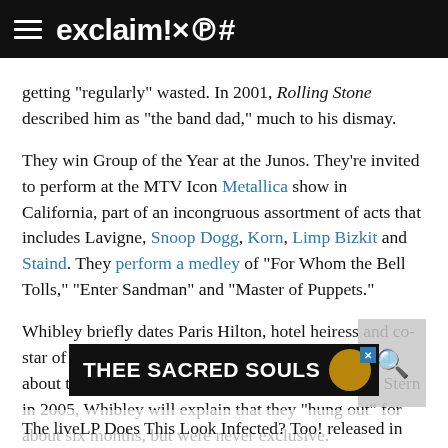exclaim!×℗#
getting "regularly" wasted. In 2001, Rolling Stone described him as "the band dad," much to his dismay.
They win Group of the Year at the Junos. They're invited to perform at the MTV Icon Metallica show in California, part of an incongruous assortment of acts that includes Lavigne, Snoop Dogg, Korn, Limp Bizkit and Staind. They perform a medley of "For Whom the Bell Tolls," "Enter Sandman" and "Master of Puppets."
Whibley briefly dates Paris Hilton, hotel heiress and co-star of the reality show The Simple Life. When asked about the relationship in an interview with Howard Stern in 2005, Whibley will explain that they "hung out" for about six months, but were never exclusive.
[Figure (infographic): Advertisement banner for THEE SACRED SOULS with album artwork]
The live LP Does This Look Infected? Too! released in